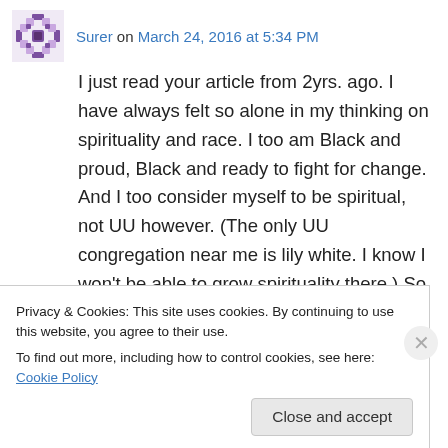Surer on March 24, 2016 at 5:34 PM
I just read your article from 2yrs. ago. I have always felt so alone in my thinking on spirituality and race. I too am Black and proud, Black and ready to fight for change. And I too consider myself to be spiritual, not UU however. (The only UU congregation near me is lily white. I know I won't be able to grow spirituality there.) So that leaves me a lone wolf with no real tangible community of like mined people. They are
Privacy & Cookies: This site uses cookies. By continuing to use this website, you agree to their use.
To find out more, including how to control cookies, see here: Cookie Policy